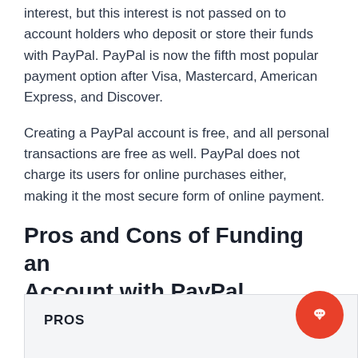interest, but this interest is not passed on to account holders who deposit or store their funds with PayPal. PayPal is now the fifth most popular payment option after Visa, Mastercard, American Express, and Discover.
Creating a PayPal account is free, and all personal transactions are free as well. PayPal does not charge its users for online purchases either, making it the most secure form of online payment.
Pros and Cons of Funding an Account with PayPal
| PROS |
| --- |